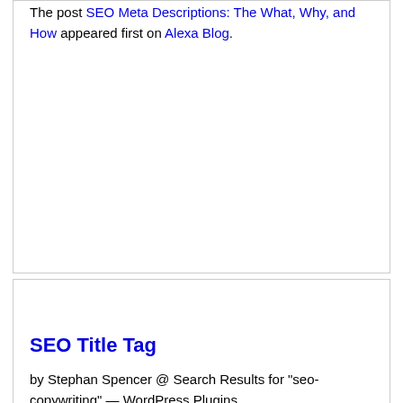The post SEO Meta Descriptions: The What, Why, and How appeared first on Alexa Blog.
SEO Title Tag
by Stephan Spencer @ Search Results for "seo-copywriting" — WordPress Plugins